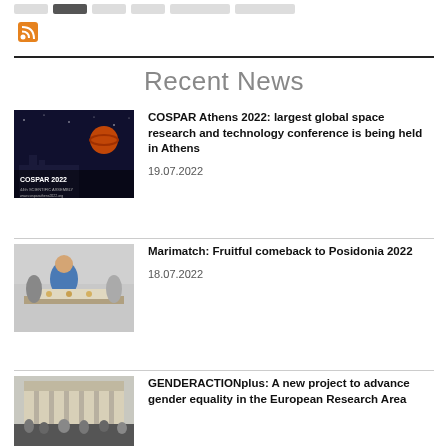[Figure (screenshot): Navigation bar with tabs, one highlighted in dark]
[Figure (logo): RSS feed orange icon]
Recent News
[Figure (photo): COSPAR 2022 event banner with space imagery]
COSPAR Athens 2022: largest global space research and technology conference is being held in Athens
19.07.2022
[Figure (photo): Person at exhibition booth, Marimatch/Posidonia]
Marimatch: Fruitful comeback to Posidonia 2022
18.07.2022
[Figure (photo): Crowd gathered at building exterior, GENDERACTIONplus event]
GENDERACTIONplus: A new project to advance gender equality in the European Research Area